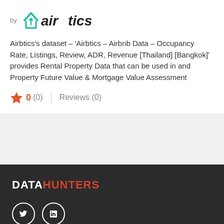[Figure (logo): Airbtics logo with teal house icon and bold italic text 'airbtics']
Airbtics's dataset – 'Airbtics – Airbnb Data – Occupancy Rate, Listings, Review, ADR, Revenue [Thailand] [Bangkok]' provides Rental Property Data that can be used in and Property Future Value & Mortgage Value Assessment
★ 0 (0) | Reviews (0)
[Figure (logo): DataHunters logo in white and red bold text on dark background, with Twitter and LinkedIn social icons below]